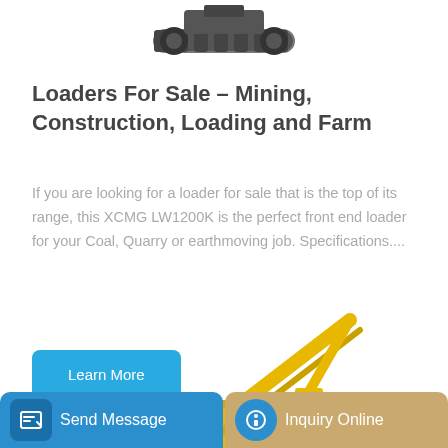[Figure (photo): Partial top view of a tracked heavy machine / loader against white background]
Loaders For Sale – Mining, Construction, Loading and Farm
If you are looking for a loader for sale that is the top of its range, this XCMG LW1200K is the perfect front end loader for your Coal, Quarry or earthmoving job. Specifications....
[Figure (photo): Yellow construction excavator / loader machine with extended arm against white background]
Send Message
Inquiry Online